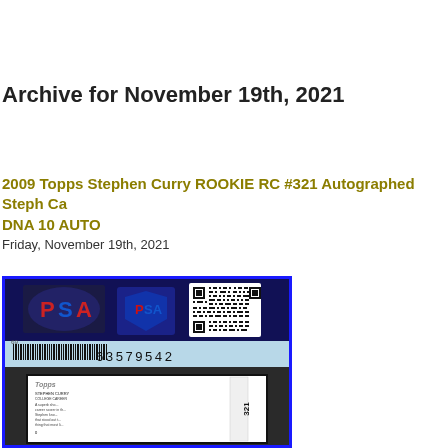Archive for November 19th, 2021
2009 Topps Stephen Curry ROOKIE RC #321 Autographed Steph Ca DNA 10 AUTO
Friday, November 19th, 2021
[Figure (photo): Photo of a PSA-graded card slab showing the back of a 2009 Topps Stephen Curry Rookie card #321 with PSA label, QR code, barcode number 63579542, inside a blue-bordered case.]